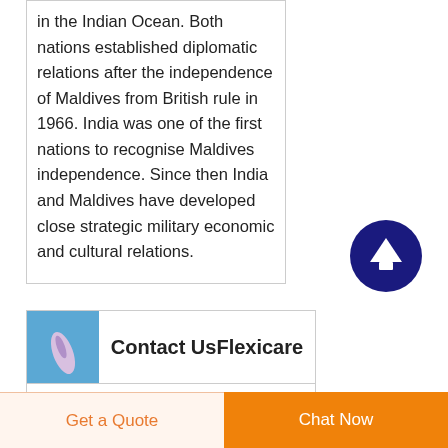in the Indian Ocean. Both nations established diplomatic relations after the independence of Maldives from British rule in 1966. India was one of the first nations to recognise Maldives independence. Since then India and Maldives have developed close strategic military economic and cultural relations.
[Figure (illustration): Dark navy blue circular button with upward-pointing arrow icon (scroll to top button)]
[Figure (photo): Small rectangular photo of a medical tube/catheter on blue background]
Contact UsFlexicare
Flexicare Medical Dongguan